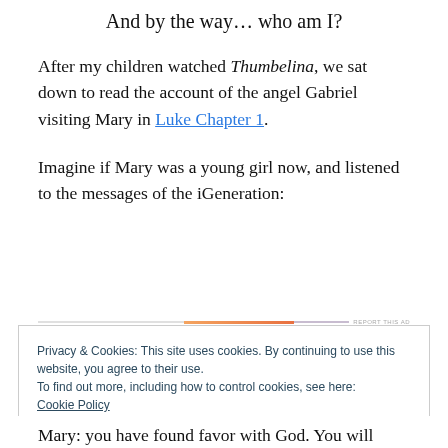And by the way… who am I?
After my children watched Thumbelina, we sat down to read the account of the angel Gabriel visiting Mary in Luke Chapter 1.
Imagine if Mary was a young girl now, and listened to the messages of the iGeneration:
[Figure (other): Advertisement bar with orange gradient line and 'REPORT THIS AD' label]
Privacy & Cookies: This site uses cookies. By continuing to use this website, you agree to their use.
To find out more, including how to control cookies, see here: Cookie Policy
Close and accept
Mary: you have found favor with God. You will